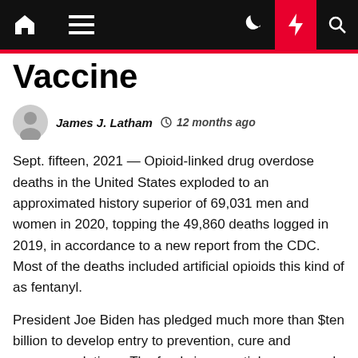Navigation bar with home, menu, dark mode, lightning, and search icons
Vaccine
James J. Latham  12 months ago
Sept. fifteen, 2021 — Opioid-linked drug overdose deaths in the United States exploded to an approximated history superior of 69,031 men and women in 2020, topping the 49,860 deaths logged in 2019, in accordance to a new report from the CDC. Most of the deaths included artificial opioids this kind of as fentanyl.
President Joe Biden has pledged much more than $ten billion to develop entry to prevention, cure and recovery solutions. The funds is essential as men and women obtaining cure for opioid use ailment